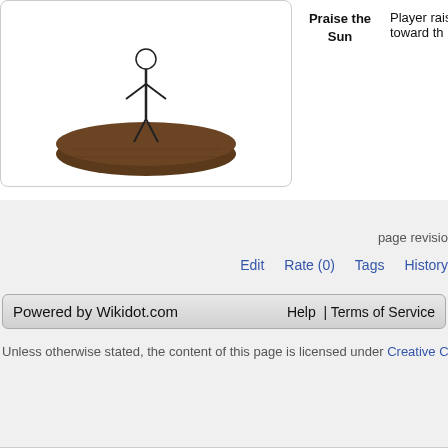[Figure (illustration): A game character figure standing on a round platform/base, sketch style illustration]
Praise the Sun
Player raises toward th
page revisio
Edit   Rate (0)   Tags   History
Powered by Wikidot.com   Help  | Terms of Service
Unless otherwise stated, the content of this page is licensed under Creative Co